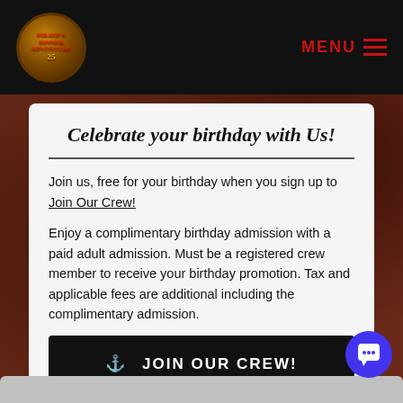MENU
Celebrate your birthday with Us!
Join us, free for your birthday when you sign up to Join Our Crew!
Enjoy a complimentary birthday admission with a paid adult admission. Must be a registered crew member to receive your birthday promotion. Tax and applicable fees are additional including the complimentary admission.
⚓ JOIN OUR CREW!